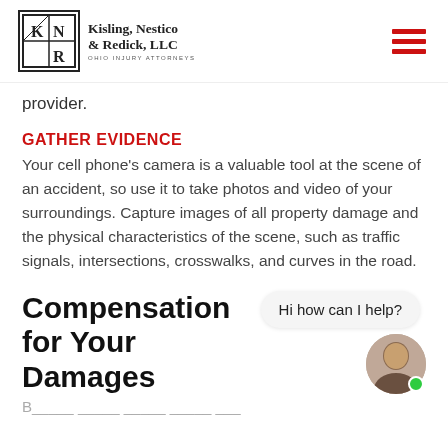Kisling, Nestico & Redick, LLC — OHIO INJURY ATTORNEYS
provider.
GATHER EVIDENCE
Your cell phone's camera is a valuable tool at the scene of an accident, so use it to take photos and video of your surroundings. Capture images of all property damage and the physical characteristics of the scene, such as traffic signals, intersections, crosswalks, and curves in the road.
Compensation for Your Damages
Hi how can I help?